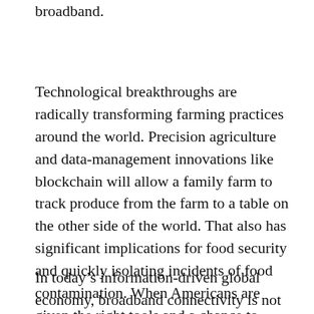This is why policies if they don't invest in broadband.
Technological breakthroughs are radically transforming farming practices around the world. Precision agriculture and data-management innovations like blockchain will allow a family farm to track produce from the farm to a table on the other side of the world. That also has significant implications for food security and quickly isolating incidents of food contamination. When Americans are given the right tools and a chance to succeed, we all prosper.
In today’s information-driven global economy, broadband connectivity is not a luxury.